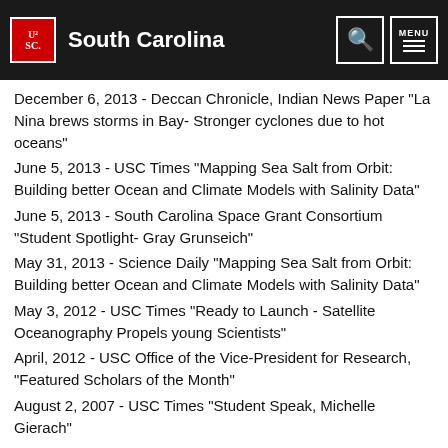University of South Carolina
December 6, 2013 - Deccan Chronicle, Indian News Paper "La Nina brews storms in Bay- Stronger cyclones due to hot oceans"
June 5, 2013 - USC Times "Mapping Sea Salt from Orbit: Building better Ocean and Climate Models with Salinity Data"
June 5, 2013 - South Carolina Space Grant Consortium "Student Spotlight- Gray Grunseich"
May 31, 2013 - Science Daily "Mapping Sea Salt from Orbit: Building better Ocean and Climate Models with Salinity Data"
May 3, 2012 - USC Times "Ready to Launch - Satellite Oceanography Propels young Scientists"
April, 2012 - USC Office of the Vice-President for Research, "Featured Scholars of the Month"
August 2, 2007 - USC Times "Student Speak, Michelle Gierach"